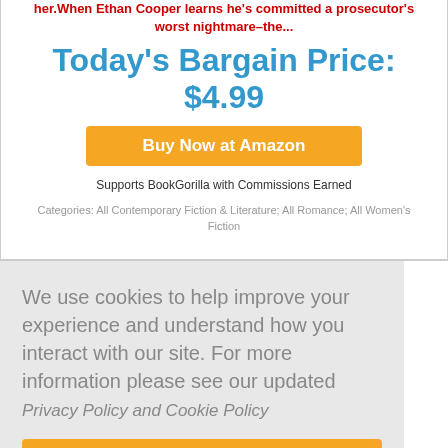her. When Ethan Cooper learns he's committed a prosecutor's worst nightmare–the...
Today's Bargain Price: $4.99
Buy Now at Amazon
Supports BookGorilla with Commissions Earned
Categories: All Contemporary Fiction & Literature; All Romance; All Women's Fiction
We use cookies to help improve your experience and understand how you interact with our site. For more information please see our updated Privacy Policy and Cookie Policy
Don't show this again
A Teaspoon of Mistletoe: A sweet